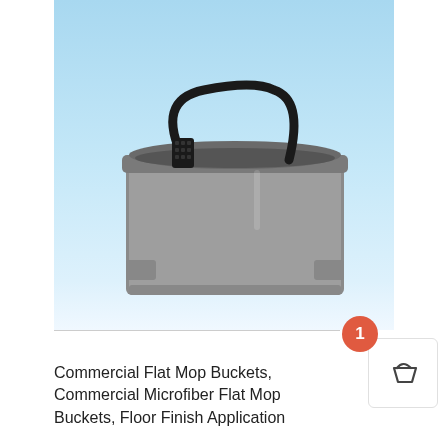[Figure (photo): A gray rectangular commercial flat mop bucket with a black handle, photographed against a light blue gradient background.]
Commercial Flat Mop Buckets, Commercial Microfiber Flat Mop Buckets, Floor Finish Application